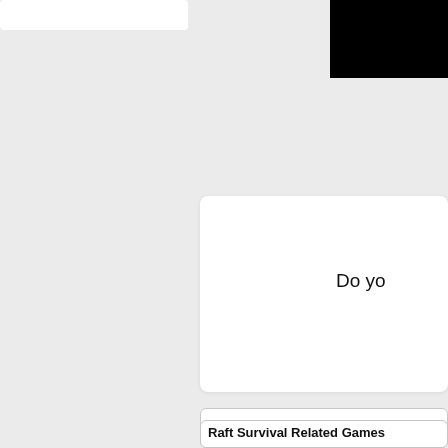[Figure (screenshot): White card/box in top-left area]
[Figure (screenshot): Black rectangle in top-right corner]
[Figure (screenshot): White card with 'Do yo' text visible]
Raft Survival Tags, Control and
[Figure (screenshot): Game screenshot showing a shark being shot, with red crosshair and a hand holding a weapon, dark underwater background with plants]
Tags:
Raft Survival Related Games